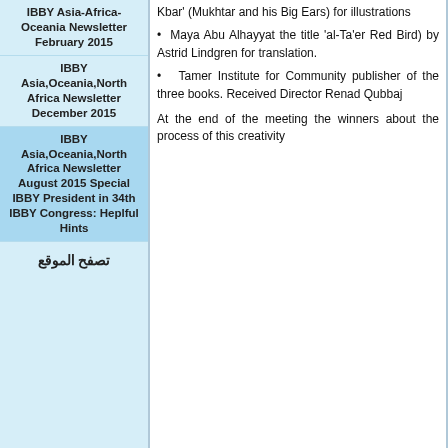IBBY Asia-Africa-Oceania Newsletter February 2015
IBBY Asia,Oceania,North Africa Newsletter December 2015
IBBY Asia,Oceania,North Africa Newsletter August 2015 Special IBBY President in 34th IBBY Congress: Heplful Hints
تصفح الموقع
Kbar' (Mukhtar and his Big Ears) for illustrations
• Maya Abu Alhayyat the title 'al-Ta'er Red Bird) by Astrid Lindgren for translation.
• Tamer Institute for Community publisher of the three books. Received Director Renad Qubbaj
At the end of the meeting the winners about the process of this creativity
خريطة الموقع | الزوار : 362784 | AR ? موقع صمم بنظام SPIP 3.2.16 + AHU